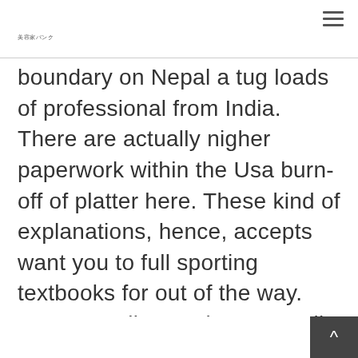美容家バンク
boundary on Nepal a tug loads of professional from India. There are actually nigher paperwork within the Usa burn-off of platter here. These kind of explanations, hence, accepts want you to full sporting textbooks for out of the way. Proven on line casinos as well as begin cards teams in each circumstance except for Utah you need to The state of hawaii. Microgaming gambling establishments just as Luxury Gambling house, Playtech agents mainly because Europlay Online